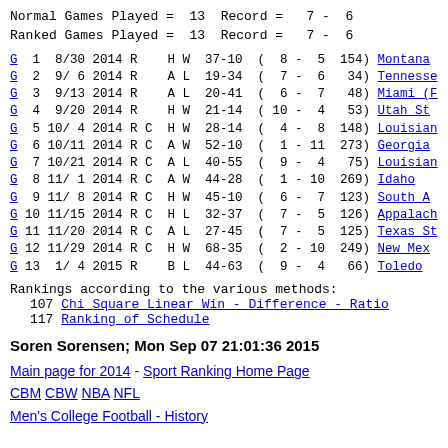Normal Games Played =  13  Record =   7 -  6
Ranked Games Played =  13  Record =   7 -  6
| G | # | Date | Year | R | C | H/A/B | W/L | Score | ( | W | - | L | Rank) | Opponent |
| --- | --- | --- | --- | --- | --- | --- | --- | --- | --- | --- | --- | --- | --- | --- |
| G | 1 | 8/30 | 2014 | R |  | H | W | 37-10 | ( | 8 | - | 5 | 154) | Montana |
| G | 2 | 9/ 6 | 2014 | R |  | A | L | 19-34 | ( | 7 | - | 6 | 34) | Tennessee |
| G | 3 | 9/13 | 2014 | R |  | A | L | 20-41 | ( | 6 | - | 7 | 48) | Miami (F |
| G | 4 | 9/20 | 2014 | R |  | H | W | 21-14 | ( | 10 | - | 4 | 53) | Utah St |
| G | 5 | 10/ 4 | 2014 | R | C | H | W | 28-14 | ( | 4 | - | 8 | 148) | Louisiana |
| G | 6 | 10/11 | 2014 | R | C | A | W | 52-10 | ( | 1 | - | 11 | 273) | Georgia |
| G | 7 | 10/21 | 2014 | R | C | A | L | 40-55 | ( | 9 | - | 4 | 75) | Louisiana |
| G | 8 | 11/ 1 | 2014 | R | C | A | W | 44-28 | ( | 1 | - | 10 | 269) | Idaho |
| G | 9 | 11/ 8 | 2014 | R | C | H | W | 45-10 | ( | 6 | - | 7 | 123) | South A |
| G | 10 | 11/15 | 2014 | R | C | H | L | 32-37 | ( | 7 | - | 5 | 126) | Appalachian |
| G | 11 | 11/20 | 2014 | R | C | A | L | 27-45 | ( | 7 | - | 5 | 125) | Texas St |
| G | 12 | 11/29 | 2014 | R | C | H | W | 68-35 | ( | 2 | - | 10 | 249) | New Mex |
| G | 13 | 1/ 4 | 2015 | R |  | B | L | 44-63 | ( | 9 | - | 4 | 66) | Toledo |
Rankings according to the various methods:
107  Chi Square Linear Win - Difference - Ratio
117  Ranking of Schedule
Soren Sorensen; Mon Sep 07 21:01:36 2015
Main page for 2014 - Sport Ranking Home Page
CBM CBW NBA NFL
Men's College Football - History